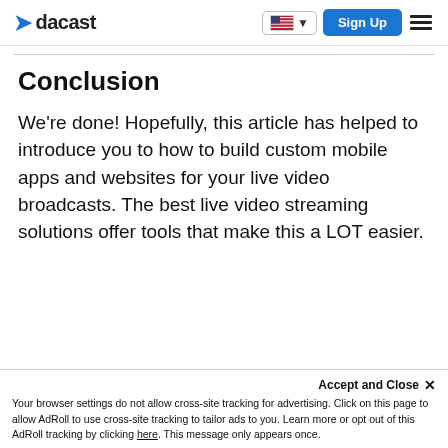dacast — Sign Up
Conclusion
We're done! Hopefully, this article has helped to introduce you to how to build custom mobile apps and websites for your live video broadcasts. The best live video streaming solutions offer tools that make this a LOT easier.
Accept and Close ×  Your browser settings do not allow cross-site tracking for advertising. Click on this page to allow AdRoll to use cross-site tracking to tailor ads to you. Learn more or opt out of this AdRoll tracking by clicking here. This message only appears once.